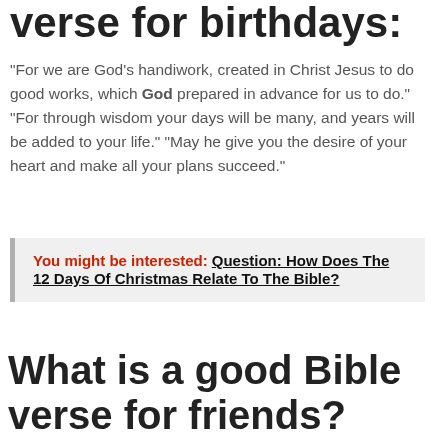verse for birthdays:
“For we are God’s handiwork, created in Christ Jesus to do good works, which God prepared in advance for us to do.” “For through wisdom your days will be many, and years will be added to your life.” “May he give you the desire of your heart and make all your plans succeed.”
You might be interested: Question: How Does The 12 Days Of Christmas Relate To The Bible?
What is a good Bible verse for friends?